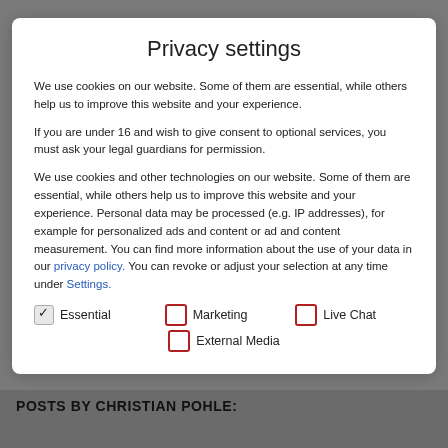Privacy settings
We use cookies on our website. Some of them are essential, while others help us to improve this website and your experience.
If you are under 16 and wish to give consent to optional services, you must ask your legal guardians for permission.
We use cookies and other technologies on our website. Some of them are essential, while others help us to improve this website and your experience. Personal data may be processed (e.g. IP addresses), for example for personalized ads and content or ad and content measurement. You can find more information about the use of your data in our privacy policy. You can revoke or adjust your selection at any time under Settings.
Essential (checked)
Marketing (unchecked)
Live Chat (unchecked)
External Media (unchecked)
POSTS BY CHRISTIAN POHLE: